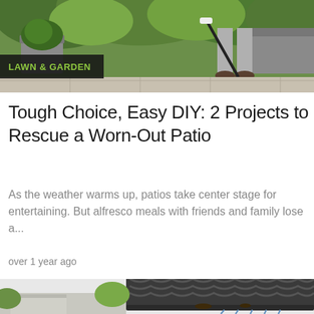[Figure (photo): Person pressure washing a patio or rooftop area, with plant containers and green foliage in background. Category badge reading LAWN & GARDEN overlaid on lower-left of image.]
Tough Choice, Easy DIY: 2 Projects to Rescue a Worn-Out Patio
As the weather warms up, patios take center stage for entertaining. But alfresco meals with friends and family lose a...
over 1 year ago
[Figure (photo): Close-up of dark roof tiles with water dripping from gutters, viewed from below.]